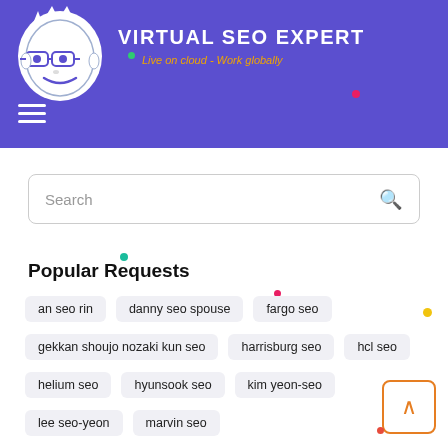[Figure (logo): Virtual SEO Expert logo with cartoon face wearing glasses on purple header background]
VIRTUAL SEO EXPERT
Live on cloud - Work globally
Search
Popular Requests
an seo rin
danny seo spouse
fargo seo
gekkan shoujo nozaki kun seo
harrisburg seo
hcl seo
helium seo
hyunsook seo
kim yeon-seo
lee seo-yeon
marvin seo
marvin seo darkest dungeon
moon hyung seo